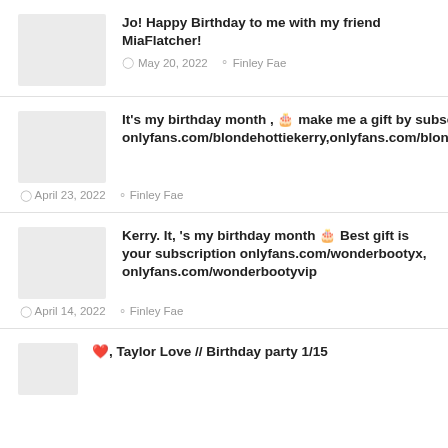Jo! Happy Birthday to me with my friend MiaFlatcher! · May 20, 2022 · Finley Fae
It's my birthday month , 🎂 make me a gift by subscrubing onlyfans.com/blondehottiekerry,onlyfans.com/blondehottiekerryvip · April 23, 2022 · Finley Fae
Kerry. It, 's my birthday month 🎂 Best gift is your subscription onlyfans.com/wonderbootyx, onlyfans.com/wonderbootyvip · April 14, 2022 · Finley Fae
❤️, Taylor Love // Birthday party 1/15